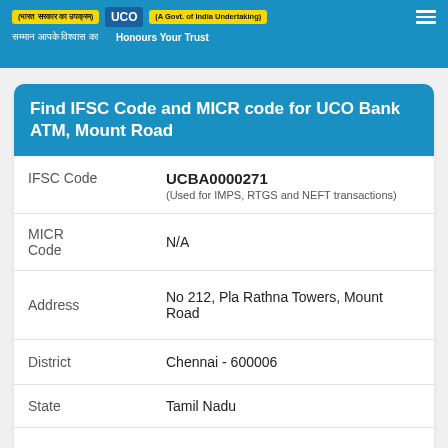UCO Bank — Honours Your Trust (भारत सरकार का उपक्रम / A Govt. of India Undertaking) | सम्मान आपके विश्वास का | Honours Your Trust
Find IFSC Code and MICR code for UCO Bank ATM, Mount Road
| Field | Value |
| --- | --- |
| IFSC Code | UCBA0000271
(Used for IMPS, RTGS and NEFT transactions) |
| MICR Code | N/A |
| Address | No 212, Pla Rathna Towers, Mount Road |
| District | Chennai - 600006 |
| State | Tamil Nadu |